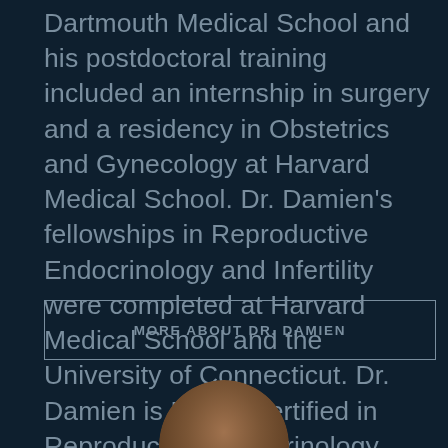Dartmouth Medical School and his postdoctoral training included an internship in surgery and a residency in Obstetrics and Gynecology at Harvard Medical School. Dr. Damien's fellowships in Reproductive Endocrinology and Infertility were completed at Harvard Medical School and the University of Connecticut. Dr. Damien is Board Certified in Reproductive Endocrinology and Infertility.
MORE ABOUT DR. DAMIEN
[Figure (photo): Bottom portion showing the top of a circular portrait photo with brown/tan coloring, partially cropped at bottom of page]